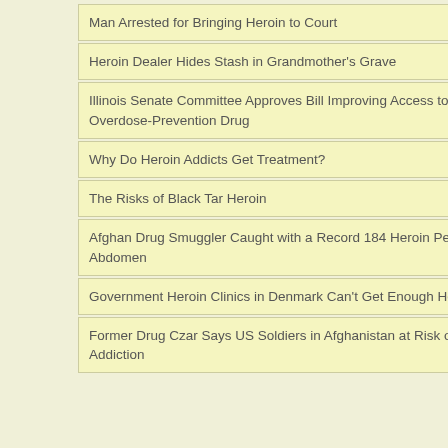Man Arrested for Bringing Heroin to Court
Heroin Dealer Hides Stash in Grandmother's Grave
Illinois Senate Committee Approves Bill Improving Access to Heroin Overdose-Prevention Drug
Why Do Heroin Addicts Get Treatment?
The Risks of Black Tar Heroin
Afghan Drug Smuggler Caught with a Record 184 Heroin Pellets in Abdomen
Government Heroin Clinics in Denmark Can't Get Enough Heroin
Former Drug Czar Says US Soldiers in Afghanistan at Risk of Heroin Addiction